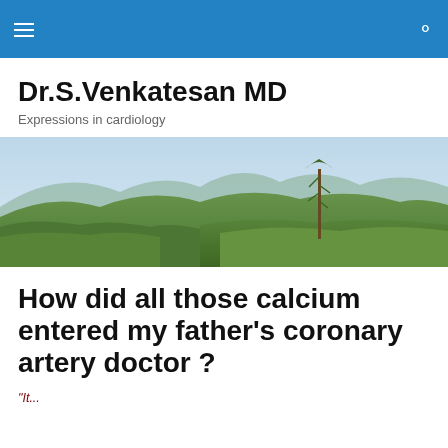Dr.S.Venkatesan MD
Expressions in cardiology
[Figure (photo): Panoramic landscape photo of lush green tea plantations on rolling hills with mountains in the background and a single tall tree visible]
How did all those calcium entered my father’s coronary artery doctor ?
“It...